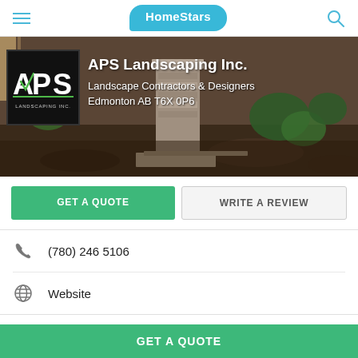HomeStars
[Figure (photo): Hero banner showing a landscaped garden with stone pillar, mulch beds, and shrubs. APS Landscaping Inc. logo (black box with APS letters) overlaid on left. Company name and details overlaid.]
APS Landscaping Inc.
Landscape Contractors & Designers
Edmonton AB T6X 0P6
GET A QUOTE
WRITE A REVIEW
(780) 246 5106
Website
HomeStars > Landscape Contractors & Designers > APS
GET A QUOTE